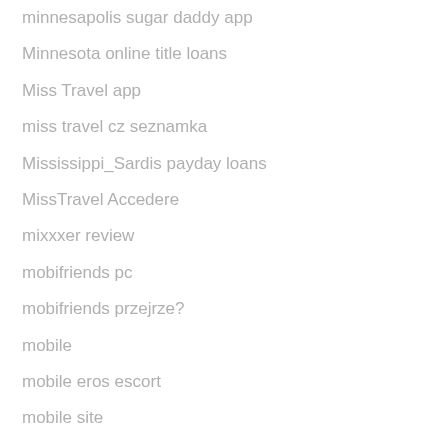minnesapolis sugar daddy app
Minnesota online title loans
Miss Travel app
miss travel cz seznamka
Mississippi_Sardis payday loans
MissTravel Accedere
mixxxer review
mobifriends pc
mobifriends przejrze?
mobile
mobile eros escort
mobile site
Mocospace reviews
modesto escort
money now payday loans